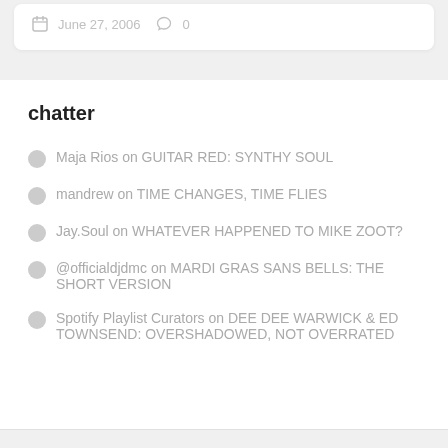June 27, 2006   0
chatter
Maja Rios on GUITAR RED: SYNTHY SOUL
mandrew on TIME CHANGES, TIME FLIES
Jay.Soul on WHATEVER HAPPENED TO MIKE ZOOT?
@officialdjdmc on MARDI GRAS SANS BELLS: THE SHORT VERSION
Spotify Playlist Curators on DEE DEE WARWICK & ED TOWNSEND: OVERSHADOWED, NOT OVERRATED